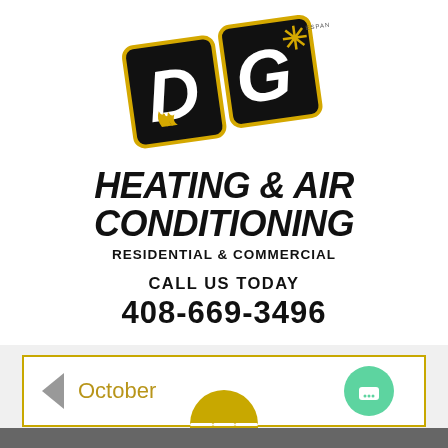[Figure (logo): DG Heating & Air Conditioning logo — black badge shape with gold/yellow outline, large letters D and G, flame symbol on D, snowflake symbol on G]
HEATING & AIR CONDITIONING
RESIDENTIAL & COMMERCIAL
CALL US TODAY
408-669-3496
[Figure (screenshot): Bottom UI section with light gray background, gold-bordered calendar navigation bar showing left chevron and 'October' text, a green circle chat button on right, a gold semicircle with hamburger menu icon at bottom center, and a dark gray footer bar]